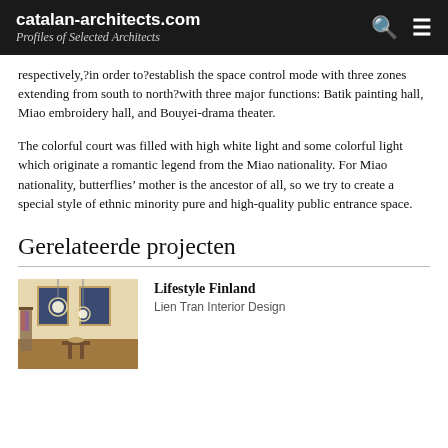catalan-architects.com
Profiles of Selected Architects
respectively,​in order to​establish the space control mode with three zones extending from south to north​with three major functions: Batik painting hall, Miao embroidery hall, and Bouyei-drama theater.
The colorful court was filled with high white light and some colorful light which originate a romantic legend from the Miao nationality. For Miao nationality, butterflies’ mother is the ancestor of all, so we try to create a special style of ethnic minority pure and high-quality public entrance space.
Gerelateerde projecten
[Figure (photo): Interior photo of a clothing boutique with circular pendant lights and wooden floors]
Lifestyle Finland
Lien Tran Interior Design